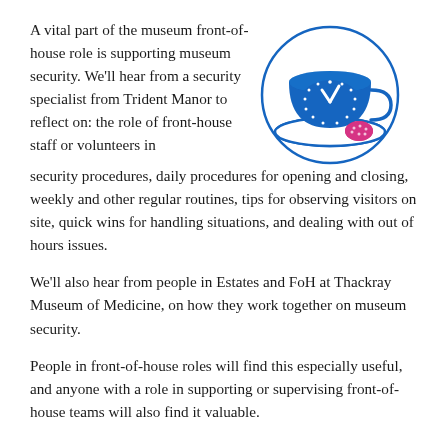A vital part of the museum front-of-house role is supporting museum security. We'll hear from a security specialist from Trident Manor to reflect on: the role of front-house staff or volunteers in security procedures, daily procedures for opening and closing, weekly and other regular routines, tips for observing visitors on site, quick wins for handling situations, and dealing with out of hours issues.
[Figure (illustration): Illustration of a blue teacup on a saucer with a clock face design on the cup showing approximately 12 o'clock, a pink/magenta cookie or biscuit on the saucer, all enclosed in a circular outline]
We'll also hear from people in Estates and FoH at Thackray Museum of Medicine, on how they work together on museum security.
People in front-of-house roles will find this especially useful, and anyone with a role in supporting or supervising front-of-house teams will also find it valuable.